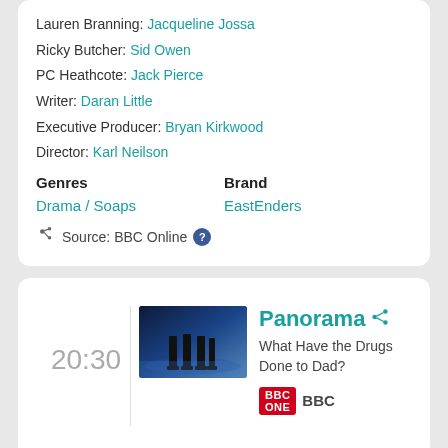Lauren Branning: Jacqueline Jossa
Ricky Butcher: Sid Owen
PC Heathcote: Jack Pierce
Writer: Daran Little
Executive Producer: Bryan Kirkwood
Director: Karl Neilson
Genres: Drama / Soaps
Brand: EastEnders
Source: BBC Online
20:30
[Figure (photo): Dark photo showing legs/feet under a table on a blue-lit floor]
Panorama
What Have the Drugs Done to Dad?
BBC